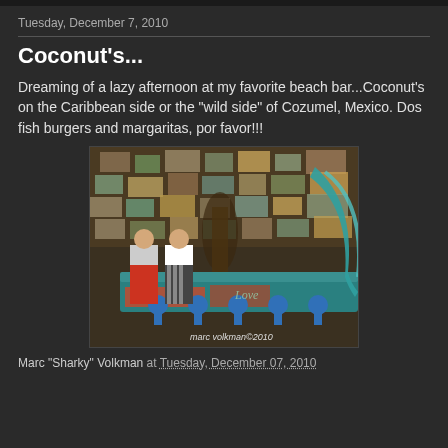Tuesday, December 7, 2010
Coconut's...
Dreaming of a lazy afternoon at my favorite beach bar...Coconut's on the Caribbean side or the "wild side" of Cozumel, Mexico.  Dos fish burgers and margaritas, por favor!!!
[Figure (photo): Interior view of Coconut's beach bar in Cozumel, Mexico. The ceiling is covered with currency notes and memorabilia. Two people stand at a teal/turquoise bar counter. The bar has blue bar stools. Watermark reads 'marc volkman©2010'.]
Marc "Sharky" Volkman at Tuesday, December 07, 2010